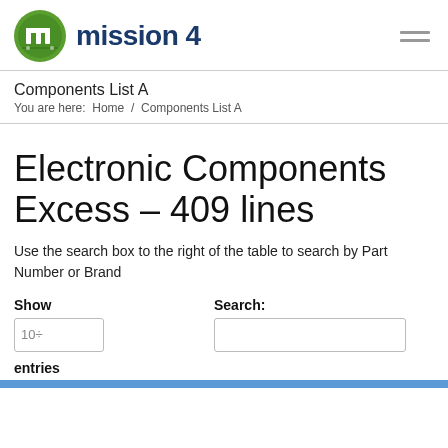[Figure (logo): Mission 4 logo: green circle with white 'm' icon and dark blue text 'mission 4']
Components List A
You are here:  Home  /  Components List A
Electronic Components Excess – 409 lines
Use the search box to the right of the table to search by Part Number or Brand
Show
Search:
entries